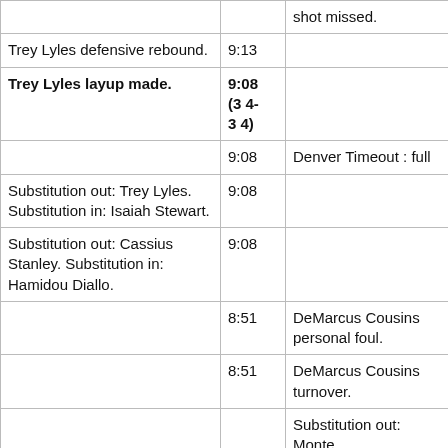|  |  |  |
| --- | --- | --- |
|  | shot missed. |  |
| Trey Lyles defensive rebound. | 9:13 |  |
| Trey Lyles layup made. | 9:08 (34-34) |  |
|  | 9:08 | Denver Timeout : full |
| Substitution out: Trey Lyles. Substitution in: Isaiah Stewart. | 9:08 |  |
| Substitution out: Cassius Stanley. Substitution in: Hamidou Diallo. | 9:08 |  |
|  | 8:51 | DeMarcus Cousins personal foul. |
|  | 8:51 | DeMarcus Cousins turnover. |
|  |  | Substitution out: Monte |